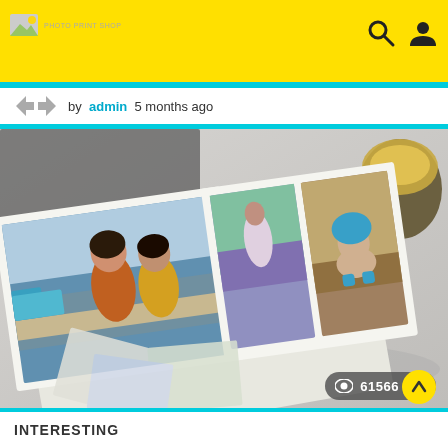by admin 5 months ago
[Figure (photo): Open photo album/book showing multiple printed photos including two women at a marina dock, a woman in a lavender field, and a dog in blue boots, spread on a marble surface with a candle nearby]
61566
INTERESTING